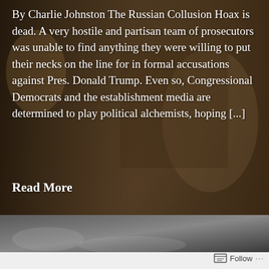[Figure (photo): Dark-toned background photo showing a person with objects, overlaid with semi-transparent dark filter. Serves as background for article excerpt text.]
By Charlie Johnston The Russian Collusion Hoax is dead. A very hostile and partisan team of prosecutors was unable to find anything they were willing to put their necks on the line for in formal accusations against Pres. Donald Trump. Even so, Congressional Democrats and the establishment media are determined to play political alchemists, hoping [...]
Read More
[Figure (photo): Dark smoky background photo in lower strip section]
Follow